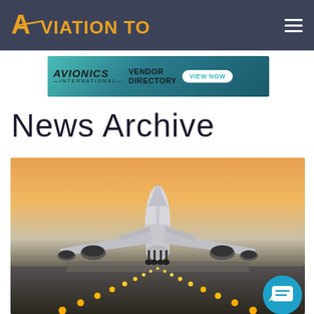Aviation Today
[Figure (screenshot): Avionics International Vendor Directory advertisement banner with teal gradient background showing 'AVIONICS INTERNATIONAL VENDOR DIRECTORY VIEW NOW']
News Archive
[Figure (photo): Large commercial airplane landing on runway at sunset/dusk, viewed from behind/below, with runway approach lights visible in foreground]